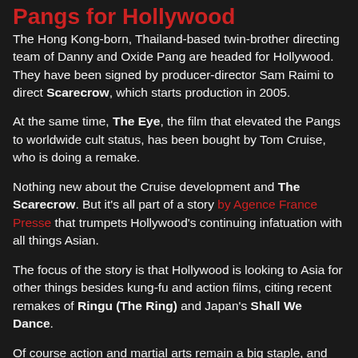Pangs for Hollywood
The Hong Kong-born, Thailand-based twin-brother directing team of Danny and Oxide Pang are headed for Hollywood. They have been signed by producer-director Sam Raimi to direct Scarecrow, which starts production in 2005.
At the same time, The Eye, the film that elevated the Pangs to worldwide cult status, has been bought by Tom Cruise, who is doing a remake.
Nothing new about the Cruise development and The Scarecrow. But it's all part of a story by Agence France Presse that trumpets Hollywood's continuing infatuation with all things Asian.
The focus of the story is that Hollywood is looking to Asia for other things besides kung-fu and action films, citing recent remakes of Ringu (The Ring) and Japan's Shall We Dance.
Of course action and martial arts remain a big staple, and the story mentions Thailand's Tony Jaa and Ong-Bak,